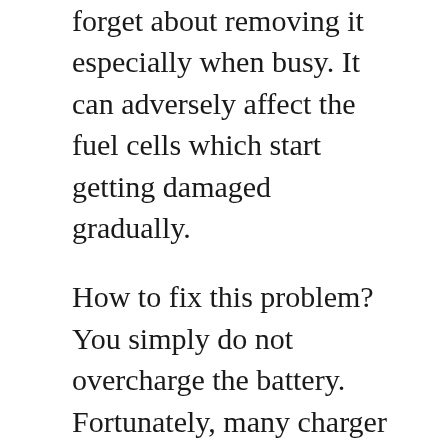forget about removing it especially when busy. It can adversely affect the fuel cells which start getting damaged gradually.
How to fix this problem? You simply do not overcharge the battery. Fortunately, many charger models are available on the market that will turn off the supply of current when the battery is fully charged. I recommend purchasing one. On the other hand, if you are not preferring this option, you should keep your focus on the charging process while carrying out other tasks. Here, setting an